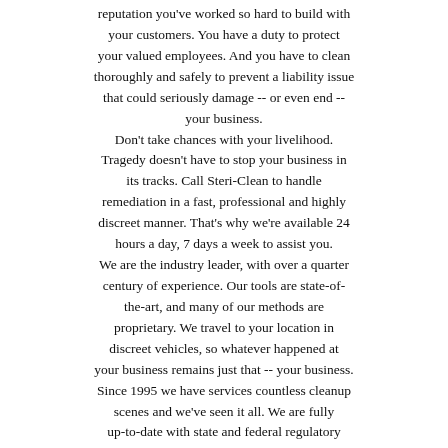reputation you've worked so hard to build with your customers. You have a duty to protect your valued employees. And you have to clean thoroughly and safely to prevent a liability issue that could seriously damage -- or even end -- your business.
Don't take chances with your livelihood.
Tragedy doesn't have to stop your business in its tracks. Call Steri-Clean to handle remediation in a fast, professional and highly discreet manner. That's why we're available 24 hours a day, 7 days a week to assist you.
We are the industry leader, with over a quarter century of experience. Our tools are state-of-the-art, and many of our methods are proprietary. We travel to your location in discreet vehicles, so whatever happened at your business remains just that -- your business.
Since 1995 we have services countless cleanup scenes and we've seen it all. We are fully up-to-date with state and federal regulatory standards, certifications, and best practices. Our